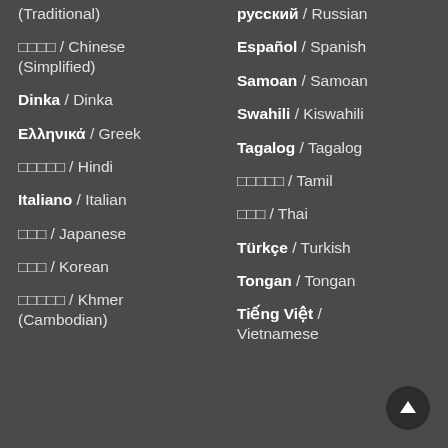(Traditional)
□□□□ / Chinese (Simplified)
Dinka / Dinka
Ελληνικά / Greek
□□□□□ / Hindi
Italiano / Italian
□□□ / Japanese
□□□ / Korean
□□□□□ / Khmer (Cambodian)
русский / Russian
Español / Spanish
Samoan / Samoan
Swahili / Kiswahili
Tagalog / Tagalog
□□□□□ / Tamil
□□□ / Thai
Türkçe / Turkish
Tongan / Tongan
Tiếng Việt / Vietnamese